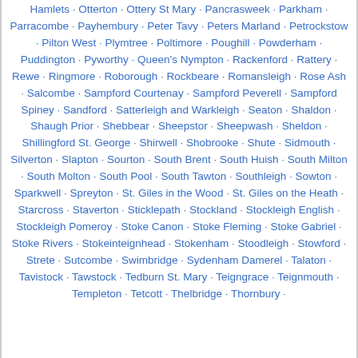Hamlets · Otterton · Ottery St Mary · Pancrasweek · Parkham · Parracombe · Payhembury · Peter Tavy · Peters Marland · Petrockstow · Pilton West · Plymtree · Poltimore · Poughill · Powderham · Puddington · Pyworthy · Queen's Nympton · Rackenford · Rattery · Rewe · Ringmore · Roborough · Rockbeare · Romansleigh · Rose Ash · Salcombe · Sampford Courtenay · Sampford Peverell · Sampford Spiney · Sandford · Satterleigh and Warkleigh · Seaton · Shaldon · Shaugh Prior · Shebbear · Sheepstor · Sheepwash · Sheldon · Shillingford St. George · Shirwell · Shobrooke · Shute · Sidmouth · Silverton · Slapton · Sourton · South Brent · South Huish · South Milton · South Molton · South Pool · South Tawton · Southleigh · Sowton · Sparkwell · Spreyton · St. Giles in the Wood · St. Giles on the Heath · Starcross · Staverton · Sticklepath · Stockland · Stockleigh English · Stockleigh Pomeroy · Stoke Canon · Stoke Fleming · Stoke Gabriel · Stoke Rivers · Stokeinteignhead · Stokenham · Stoodleigh · Stowford · Strete · Sutcombe · Swimbridge · Sydenham Damerel · Talaton · Tavistock · Tawstock · Tedburn St. Mary · Teigngrace · Teignmouth · Templeton · Tetcott · Thelbridge · Thornbury ·